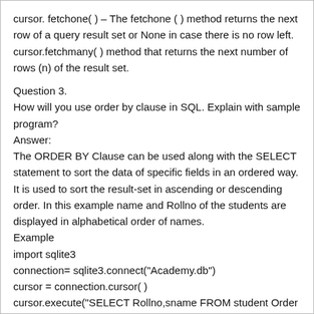cursor. fetchone( ) – The fetchone ( ) method returns the next row of a query result set or None in case there is no row left. cursor.fetchmany( ) method that returns the next number of rows (n) of the result set.
Question 3.
How will you use order by clause in SQL. Explain with sample program?
Answer:
The ORDER BY Clause can be used along with the SELECT statement to sort the data of specific fields in an ordered way. It is used to sort the result-set in ascending or descending order. In this example name and Rollno of the students are displayed in alphabetical order of names.
Example
import sqlite3
connection= sqlite3.connect("Academy.db")
cursor = connection.cursor( )
cursor.execute("SELECT Rollno,sname FROM student Order BY sname")